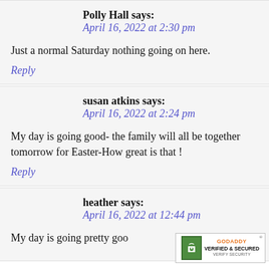Polly Hall says:
April 16, 2022 at 2:30 pm
Just a normal Saturday nothing going on here.
Reply
susan atkins says:
April 16, 2022 at 2:24 pm
My day is going good- the family will all be together tomorrow for Easter-How great is that !
Reply
heather says:
April 16, 2022 at 12:44 pm
My day is going pretty goo...
[Figure (logo): GoDaddy Verified & Secured badge]